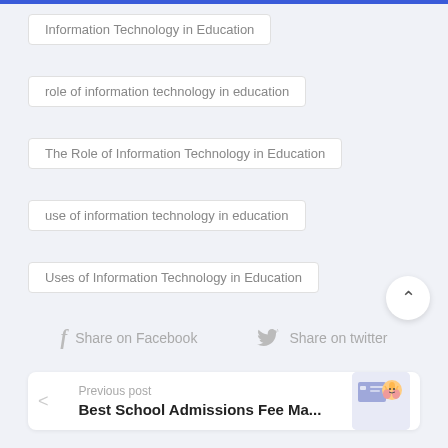Information Technology in Education
role of information technology in education
The Role of Information Technology in Education
use of information technology in education
Uses of Information Technology in Education
Share on Facebook   Share on twitter
Previous post
Best School Admissions Fee Ma...
Next post
5 Good Practices for Successf...